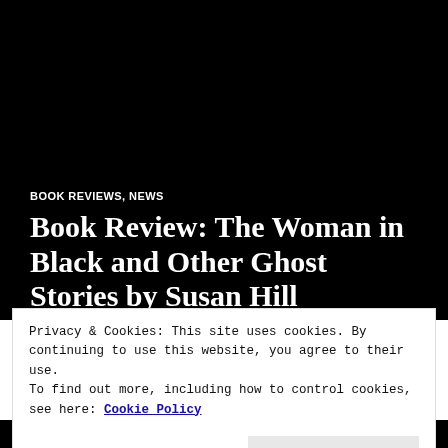[Figure (photo): Large black hero image background with book review page title overlay]
BOOK REVIEWS, NEWS
Book Review: The Woman in Black and Other Ghost Stories by Susan Hill
Privacy & Cookies: This site uses cookies. By continuing to use this website, you agree to their use.
To find out more, including how to control cookies, see here: Cookie Policy
Close and accept